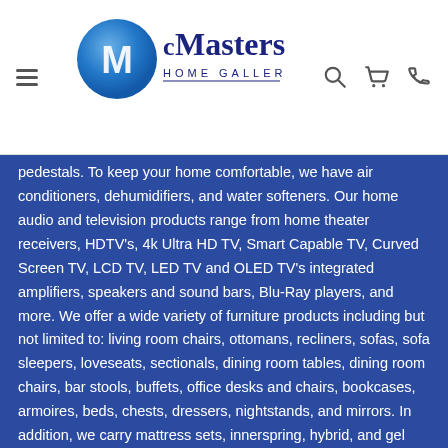[Figure (logo): McMasters Home Gallery logo with blue globe icon and dark blue text]
pedestals. To keep your home comfortable, we have air conditioners, dehumidifiers, and water softeners. Our home audio and television products range from home theater receivers, HDTV’s, 4k Ultra HD TV, Smart Capable TV, Curved Screen TV, LCD TV, LED TV and OLED TV’s integrated amplifiers, speakers and sound bars, Blu-Ray players, and more. We offer a wide variety of furniture products including but not limited to: living room chairs, ottomans, recliners, sofas, sofa sleepers, loveseats, sectionals, dining room tables, dining room chairs, bar stools, buffets, office desks and chairs, bookcases, armoires, beds, chests, dressers, nightstands, and mirrors. In addition, we carry mattress sets, innerspring, hybrid, and gel memory foam mattresses, box springs, and adjustable foundations. We